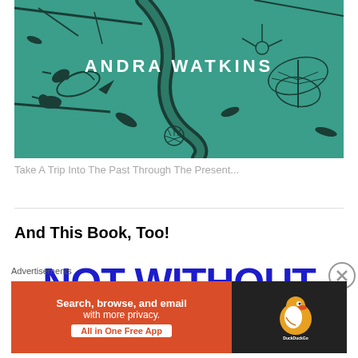[Figure (illustration): Book cover illustration with teal/green background showing birds, a snake, moths, flowers and branches in dark ink. Text 'ANDRA WATKINS' in white bold capital letters centered on the cover.]
Take A Trip Into The Past Through The Present...
And This Book, Too!
[Figure (other): Large bold blue text reading 'NOT WITHOUT']
Advertisements
[Figure (other): DuckDuckGo advertisement banner: orange left side with text 'Search, browse, and email with more privacy. All in One Free App', dark right side with DuckDuckGo duck logo]